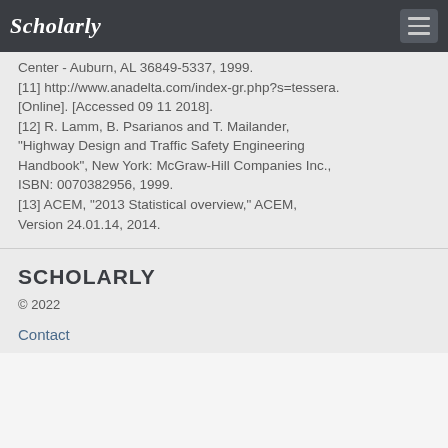Scholarly
Center - Auburn, AL 36849-5337, 1999.
[11] http://www.anadelta.com/index-gr.php?s=tessera. [Online]. [Accessed 09 11 2018].
[12] R. Lamm, B. Psarianos and T. Mailander, "Highway Design and Traffic Safety Engineering Handbook", New York: McGraw-Hill Companies Inc., ISBN: 0070382956, 1999.
[13] ACEM, "2013 Statistical overview," ACEM, Version 24.01.14, 2014.
SCHOLARLY
© 2022
Contact